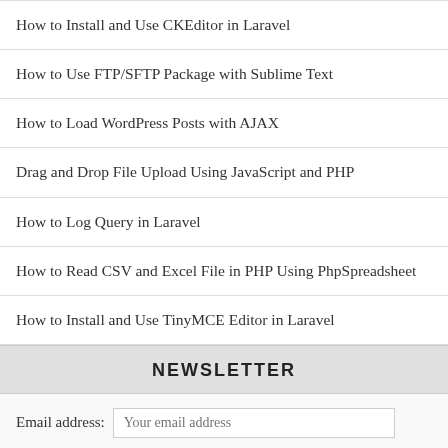How to Install and Use CKEditor in Laravel
How to Use FTP/SFTP Package with Sublime Text
How to Load WordPress Posts with AJAX
Drag and Drop File Upload Using JavaScript and PHP
How to Log Query in Laravel
How to Read CSV and Excel File in PHP Using PhpSpreadsheet
How to Install and Use TinyMCE Editor in Laravel
NEWSLETTER
Email address: Your email address
Sign up